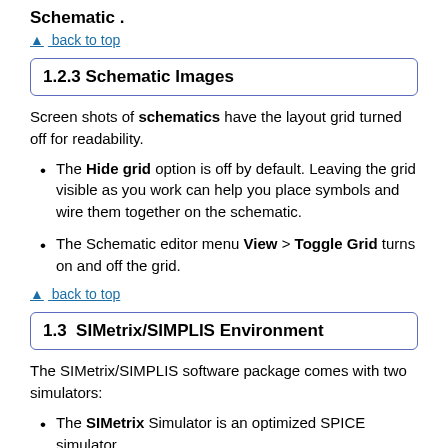Schematic .
▲ back to top
1.2.3 Schematic Images
Screen shots of schematics have the layout grid turned off for readability.
The Hide grid option is off by default. Leaving the grid visible as you work can help you place symbols and wire them together on the schematic.
The Schematic editor menu View > Toggle Grid turns on and off the grid.
▲ back to top
1.3  SIMetrix/SIMPLIS Environment
The SIMetrix/SIMPLIS software package comes with two simulators:
The SIMetrix Simulator is an optimized SPICE simulator.